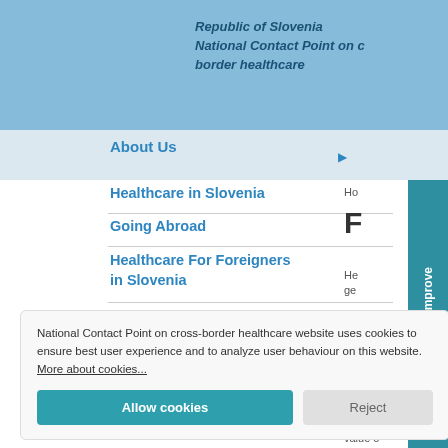Republic of Slovenia
National Contact Point on cross-border healthcare
About Us
Healthcare in Slovenia
Going Abroad
Healthcare For Foreigners in Slovenia
National Contact Point on cross-border healthcare website uses cookies to ensure best user experience and to analyze user behaviour on this website. More about cookies...
Allow cookies
Reject